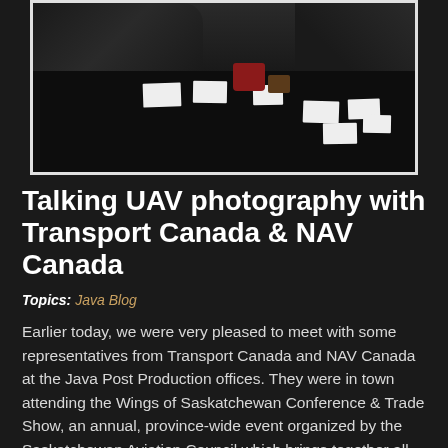[Figure (photo): Dark indoor photo of people sitting around a black table with white cards/papers and a red coffee cup, taken at a meeting or conference setting.]
Talking UAV photography with Transport Canada & NAV Canada
Topics: Java Blog
Earlier today, we were very pleased to meet with some representatives from Transport Canada and NAV Canada at the Java Post Production offices. They were in town attending the Wings of Saskatchewan Conference & Trade Show, an annual, province-wide event organized by the Saskatchewan Aviation Council which brings together all areas of the aviation industry: commercial carriers,...